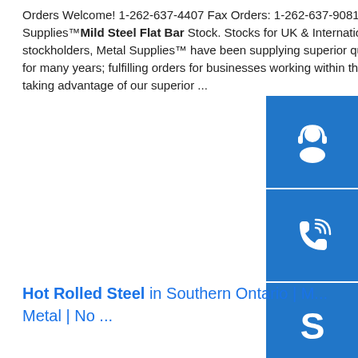Orders Welcome! 1-262-637-4407 Fax Orders: 1-262-637-9081 ...sp.info Flat Bar | Mild Steel Flat Bar | Metal Supplies™Mild Steel Flat Bar Stock. Stocks for UK & International Customers. As one of the UK's foremost steel stockholders, Metal Supplies™ have been supplying superior quality mild steel flat bar to customers in the UK and overseas for many years; fulfilling orders for businesses working within the construction, automotive and many other industries – all taking advantage of our superior ...
[Figure (infographic): Three blue square buttons stacked vertically on the right side: a customer service headset icon, a phone/call icon, and a Skype logo icon]
Hot Rolled Steel in Southern Ontario | M... Metal | No ...
[Figure (photo): Photo of stacked hot rolled steel sheets or plates, showing reddish-brown layered metal panels outdoors with green foliage in background]
hot rolled steel Softer and more ductile than cold-rolled steel, hot-rolled sheet steel is created by heating billets beyond recrystalization temperature and pressing